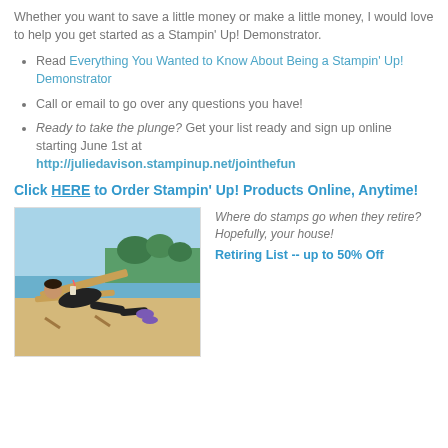Whether you want to save a little money or make a little money, I would love to help you get started as a Stampin' Up! Demonstrator.
Read Everything You Wanted to Know About Being a Stampin' Up! Demonstrator
Call or email to go over any questions you have!
Ready to take the plunge? Get your list ready and sign up online starting June 1st at http://juliedavison.stampinup.net/jointhefun
Click HERE to Order Stampin' Up! Products Online, Anytime!
[Figure (photo): Person relaxing in a lounge chair on a beach, holding a drink, with tropical scenery in background]
Where do stamps go when they retire? Hopefully, your house! Retiring List -- up to 50% Off